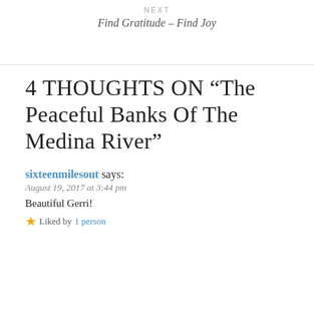NEXT
Find Gratitude – Find Joy
4 thoughts on “The Peaceful Banks of the Medina River”
sixteenmilesout says:
August 19, 2017 at 3:44 pm
Beautiful Gerri!
★ Liked by 1 person